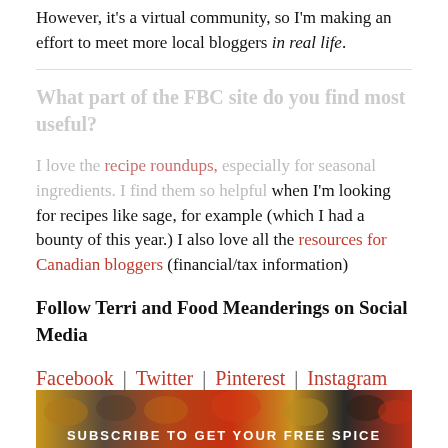However, it's a virtual community, so I'm making an effort to meet more local bloggers in real life.
What part of the FBC site do you find most useful?
I love the recipe roundups, especially for seasonal ingredients. I find them so helpful when I'm looking for recipes like sage, for example (which I had a bounty of this year.) I also love all the resources for Canadian bloggers (financial/tax information)
Follow Terri and Food Meanderings on Social Media
Facebook | Twitter | Pinterest | Instagram
[Figure (photo): Banner image with spices and text: SUBSCRIBE TO GET YOUR FREE SPICE]